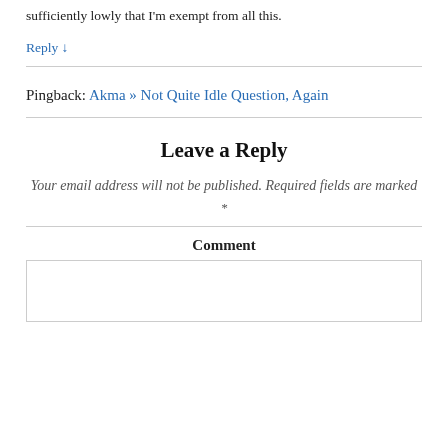sufficiently lowly that I'm exempt from all this.
Reply ↓
Pingback: Akma » Not Quite Idle Question, Again
Leave a Reply
Your email address will not be published. Required fields are marked *
Comment